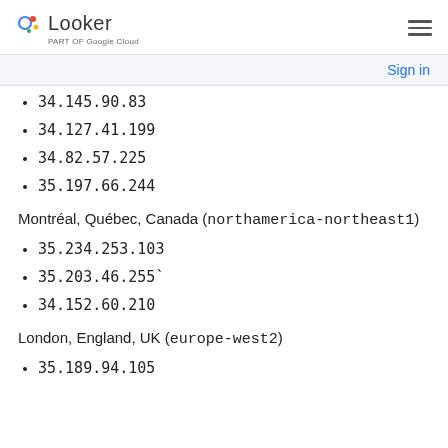Looker — part of Google Cloud
34.145.90.83
34.127.41.199
34.82.57.225
35.197.66.244
Montréal, Québec, Canada (northamerica-northeast1)
35.234.253.103
35.203.46.255`
34.152.60.210
London, England, UK (europe-west2)
35.189.94.105